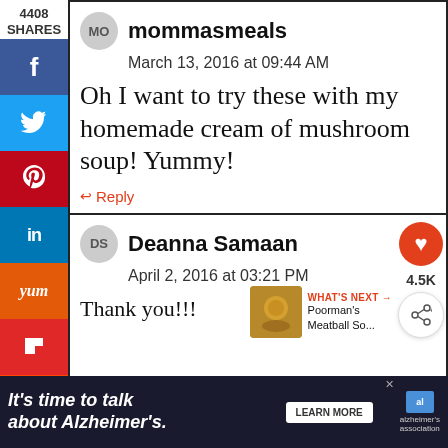4408 SHARES
f
twitter
pinterest
in
yummly
flipboard
mix
email
mommasmeals
March 13, 2016 at 09:44 AM
Oh I want to try these with my homemade cream of mushroom soup! Yummy!
Reply
Deanna Samaan
April 2, 2016 at 03:21 PM
Thank you!!!
4.5K
WHAT'S NEXT → Poorman's Meatball So...
It's time to talk about Alzheimer's. LEARN MORE